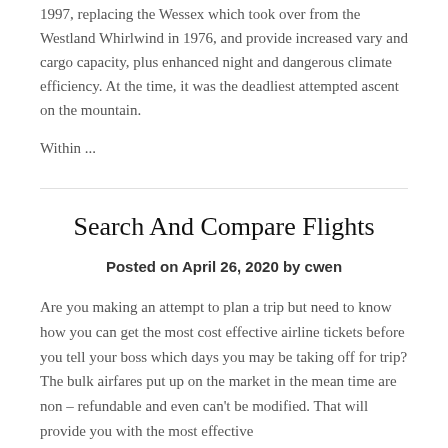1997, replacing the Wessex which took over from the Westland Whirlwind in 1976, and provide increased vary and cargo capacity, plus enhanced night and dangerous climate efficiency. At the time, it was the deadliest attempted ascent on the mountain.
Within ...
Search And Compare Flights
Posted on April 26, 2020 by cwen
Are you making an attempt to plan a trip but need to know how you can get the most cost effective airline tickets before you tell your boss which days you may be taking off for trip? The bulk airfares put up on the market in the mean time are non – refundable and even can't be modified. That will provide you with the most effective